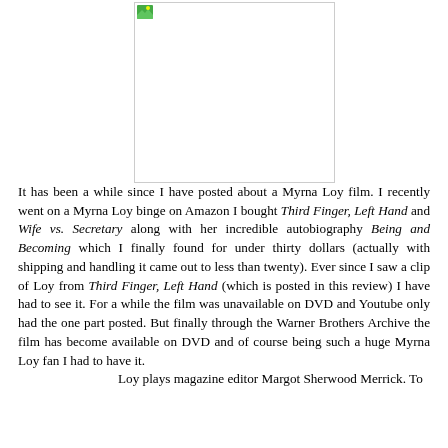[Figure (photo): A broken/missing image placeholder with a small green icon in the top-left corner, shown in a bordered white rectangle]
It has been a while since I have posted about a Myrna Loy film. I recently went on a Myrna Loy binge on Amazon I bought Third Finger, Left Hand and Wife vs. Secretary along with her incredible autobiography Being and Becoming which I finally found for under thirty dollars (actually with shipping and handling it came out to less than twenty). Ever since I saw a clip of Loy from Third Finger, Left Hand (which is posted in this review) I have had to see it. For a while the film was unavailable on DVD and Youtube only had the one part posted. But finally through the Warner Brothers Archive the film has become available on DVD and of course being such a huge Myrna Loy fan I had to have it.
Loy plays magazine editor Margot Sherwood Merrick. To